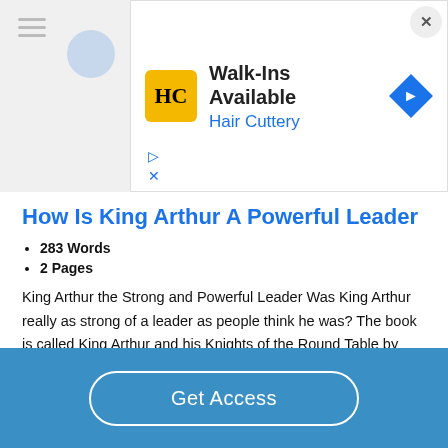[Figure (other): Hair Cuttery advertisement banner with logo, 'Walk-Ins Available' headline, and blue diamond directional arrow]
How Is King Arthur A Powerful Leader
283 Words
2 Pages
King Arthur the Strong and Powerful Leader Was King Arthur really as strong of a leader as people think he was? The book is called King Arthur and his Knights of the Round Table by Roger Lancelyn Green. King Arthur is a strong leader because he sticks to his word, he puts his own life at risk not just his knights, and he will do anything to help protect Camelot. …
Get Access